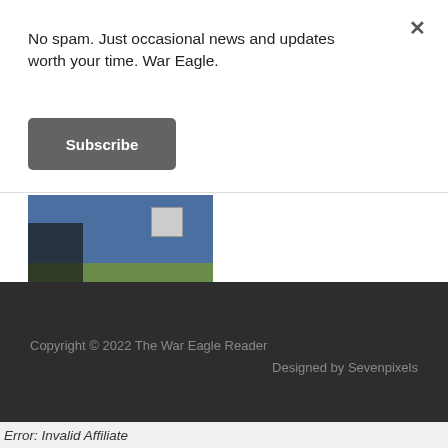No spam. Just occasional news and updates worth your time. War Eagle.
Subscribe
[Figure (photo): A blurred outdoor photo showing people in blue clothing near a sign on a grassy area.]
Copyright © 2022 The War Eagle Reader
Designed by Sevenpixels
Error: Invalid Affiliate